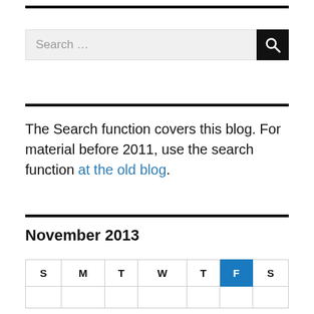[Figure (other): Search bar with text input field showing 'Search ...' placeholder and a black search button with magnifying glass icon]
The Search function covers this blog. For material before 2011, use the search function at the old blog.
November 2013
| S | M | T | W | T | F | S |
| --- | --- | --- | --- | --- | --- | --- |